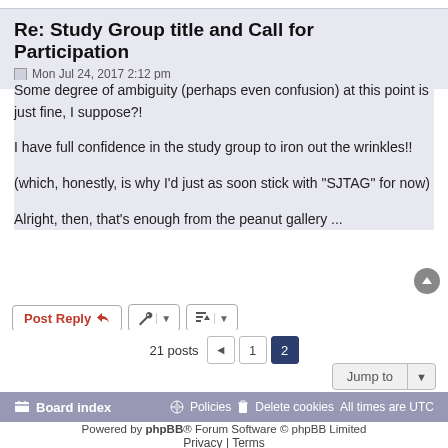Re: Study Group title and Call for Participation
Mon Jul 24, 2017 2:12 pm
Some degree of ambiguity (perhaps even confusion) at this point is just fine, I suppose?!
I have full confidence in the study group to iron out the wrinkles!!
(which, honestly, is why I'd just as soon stick with "SJTAG" for now)
Alright, then, that's enough from the peanut gallery ...
Post Reply | tools | sort | 21 posts | 1 | 2 | Jump to
Board index | Policies | Delete cookies | All times are UTC
Powered by phpBB® Forum Software © phpBB Limited | Privacy | Terms